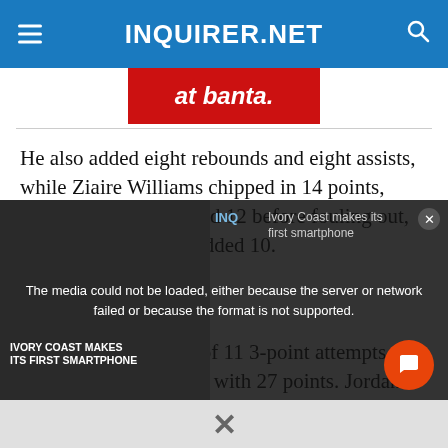INQUIRER.NET
[Figure (photo): Red advertisement banner showing 'at banta.' text]
He also added eight rebounds and eight assists, while Ziaire Williams chipped in 14 points, Jaren Jackson Jr. scored 12 before fouling out, and Brandon Clarke added 10.
Despite hitting just 3 of 11 3-point attempts, Curry led the Warriors with 27 points. Jordan Poole
[Figure (screenshot): Video player overlay showing error message: 'The media could not be loaded, either because the server or network failed or because the format is not supported.' with thumbnail of Ivory Coast smartphone story]